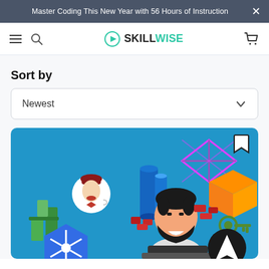Master Coding This New Year with 56 Hours of Instruction
[Figure (logo): SkillWise logo with play button icon, navigation bar with hamburger menu, search icon, and cart icon]
Sort by
Newest
[Figure (illustration): Blue card with a bearded man at a laptop surrounded by various technology logos including Kubernetes, Jenkins, Azure, AWS, and other cloud/DevOps tool icons]